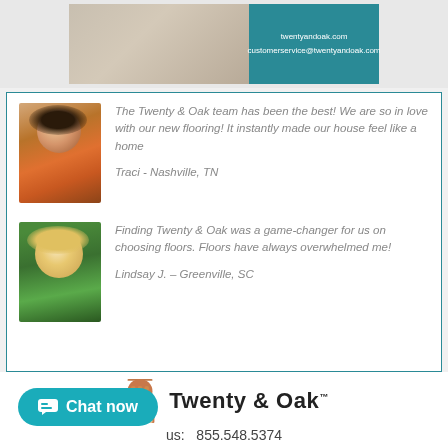[Figure (photo): Top strip showing wood flooring image and teal info block with twentyandoak.com and customerservice@twentyandoak.com]
The Twenty & Oak team has been the best! We are so in love with our new flooring! It instantly made our house feel like a home
Traci - Nashville, TN
Finding Twenty & Oak was a game-changer for us on choosing floors. Floors have always overwhelmed me!
Lindsay J. – Greenville, SC
[Figure (logo): Twenty & Oak logo with acorn/building icon]
us:   855.548.5374